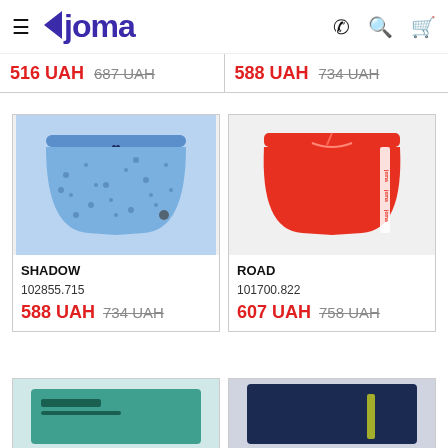Joma - navigation header with hamburger menu, logo, phone, search, cart icons
516 UAH  687 UAH  |  588 UAH  734 UAH
[Figure (photo): Blue patterned swim shorts (SHADOW)]
SHADOW
102855.715
588 UAH  734 UAH
[Figure (photo): Red swim shorts with Joma logo stripe (ROAD)]
ROAD
101700.822
607 UAH  758 UAH
[Figure (photo): Teal/green partial product image at bottom left]
[Figure (photo): Dark navy partial product image at bottom right]